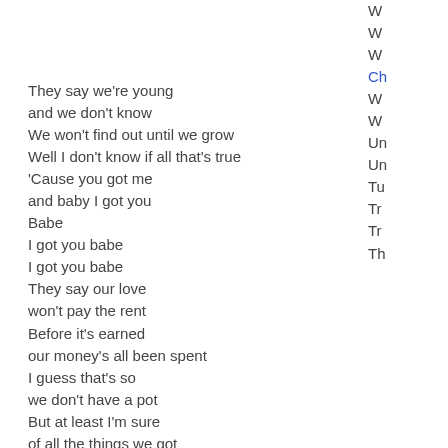They say we're young
and we don't know
We won't find out until we grow
Well I don't know if all that's true
'Cause you got me
and baby I got you
Babe
I got you babe
I got you babe
They say our love
won't pay the rent
Before it's earned
our money's all been spent
I guess that's so
we don't have a pot
But at least I'm sure
of all the things we got
Babe
I got you babe
I got you babe
I got flowers in the spring
I got you to wear my ring
And when I'm sad
W
W
W
Ch
W
W
Un
Un
Tu
Tr
Tr
Th